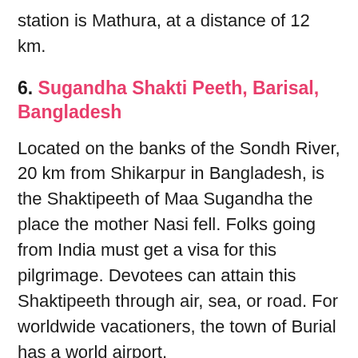station is Mathura, at a distance of 12 km.
6. Sugandha Shakti Peeth, Barisal, Bangladesh
Located on the banks of the Sondh River, 20 km from Shikarpur in Bangladesh, is the Shaktipeeth of Maa Sugandha the place the mother Nasi fell. Folks going from India must get a visa for this pilgrimage. Devotees can attain this Shaktipeeth through air, sea, or road. For worldwide vacationers, the town of Burial has a world airport.
7. Amarnath Shakti Peeth, Pahalgam, Jammu & Kashmir, India